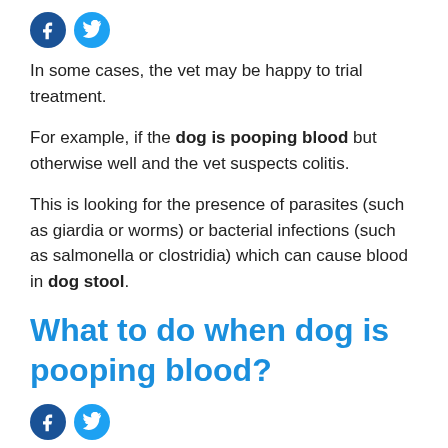[Figure (other): Social media share icons: Facebook (dark blue circle with f) and Twitter (light blue circle with bird)]
In some cases, the vet may be happy to trial treatment.
For example, if the dog is pooping blood but otherwise well and the vet suspects colitis.
This is looking for the presence of parasites (such as giardia or worms) or bacterial infections (such as salmonella or clostridia) which can cause blood in dog stool.
What to do when dog is pooping blood?
[Figure (other): Social media share icons: Facebook (dark blue circle with f) and Twitter (light blue circle with bird)]
If you've noticed blood in your dog's stool and your